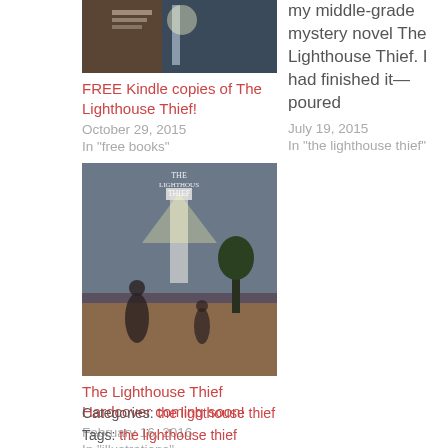[Figure (photo): Book cover image partially visible at top left - appears to be The Lighthouse Thief book]
FREE Kindle copies of The Lighthouse Thief!
October 29, 2015
In "free books"
my middle-grade mystery novel The Lighthouse Thief. I had finished it—poured
July 19, 2015
In "the lighthouse thief"
[Figure (photo): The Lighthouse Thief book cover showing a figure with a lighthouse and beam of light]
The Lighthouse Thief Hardcover coming soon!
February 16, 2016
In "illustrations"
Categories: the lighthouse thief
Tags: the lighthouse thief